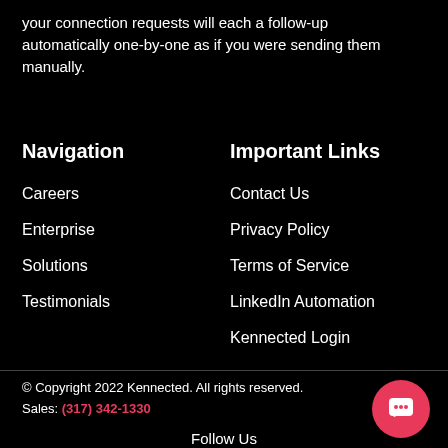your connection requests will each a follow-up automatically one-by-one as if you were sending them manually.
Navigation
Careers
Enterprise
Solutions
Testimonials
Important Links
Contact Us
Privacy Policy
Terms of Service
LinkedIn Automation
Kennected Login
© Copyright 2022 Kennected. All rights reserved.
Sales: (317) 342-1330
Follow Us